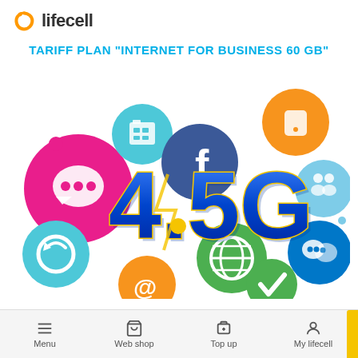lifecell
TARIFF PLAN "INTERNET FOR BUSINESS 60 GB"
[Figure (illustration): 4.5G branded illustration with colorful circles containing social media and communication icons — chat bubble, Facebook logo, phone/SIM card icon, globe, email (@), euro currency, people/groups icons, checkmark — surrounding large 3D blue '4.5G' text on white background. Part of Lifecell mobile operator branding.]
Menu  Web shop  Top up  My lifecell